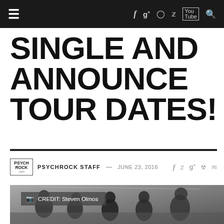Navigation bar with hamburger menu, social icons: f, g+, camera/instagram, twitter, youtube, search
SINGLE AND ANNOUNCE TOUR DATES!
PSYCHROCK STAFF — JUNE 23, 2016
[Figure (photo): Black and white photo of a band (group of people) in a room with string lights, CREDIT: Steven Olmos]